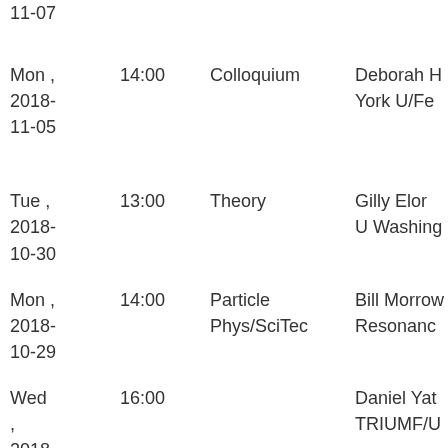| Date | Time | Type | Speaker |
| --- | --- | --- | --- |
| Mon , 2018-11-05 | 14:00 | Colloquium | Deborah H York U/Fe |
| Tue , 2018-10-30 | 13:00 | Theory | Gilly Elor U Washing |
| Mon , 2018-10-29 | 14:00 | Particle Phys/SciTec | Bill Morrow Resonanc |
| Wed , 2018-10-24 | 16:00 |  | Daniel Yat TRIUMF/U |
| Wed | 14:30 | Accelerator | Lutz Lilje |